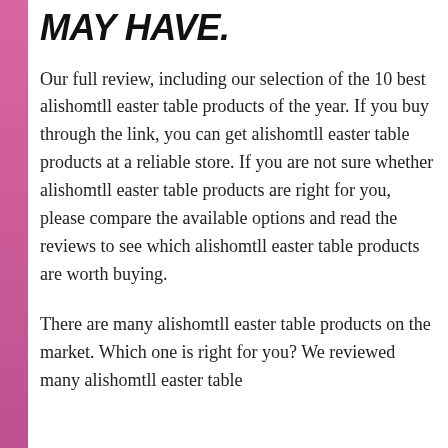MAY HAVE.
Our full review, including our selection of the 10 best alishomtll easter table products of the year. If you buy through the link, you can get alishomtll easter table products at a reliable store. If you are not sure whether alishomtll easter table products are right for you, please compare the available options and read the reviews to see which alishomtll easter table products are worth buying.
There are many alishomtll easter table products on the market. Which one is right for you? We reviewed many alishomtll easter table products. This is the best alishomtll...